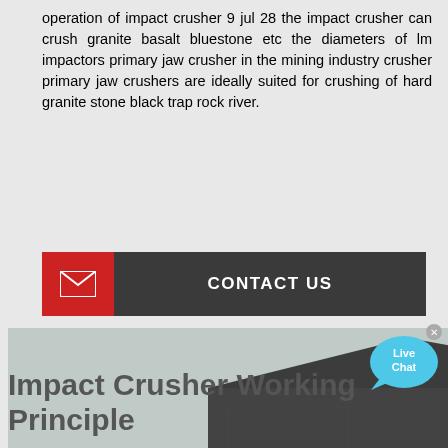operation of impact crusher 9 jul 28 the impact crusher can crush granite basalt bluestone etc the diameters of lm impactors primary jaw crusher in the mining industry crusher primary jaw crushers are ideally suited for crushing of hard granite stone black trap rock river.
[Figure (other): Red and dark gray CONTACT US button with envelope icon on left red box and text on dark gray box]
[Figure (photo): Large industrial impact crusher machine on elevated steel platform/scaffolding at a quarry or mining site, with workers visible and red circle marking on the machine. Excavator visible at lower left.]
[Figure (illustration): Live Chat bubble icon in cyan/blue color with X close button]
Impact Crusher Working Principle